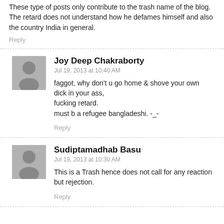These type of posts only contribute to the trash name of the blog. The retard does not understand how he defames himself and also the country India in general.
Reply
Joy Deep Chakraborty
Jul 19, 2013 at 10:40 AM
faggot, why don't u go home & shove your own dick in your ass,
fucking retard.
must b a refugee bangladeshi. -_-
Reply
Sudiptamadhab Basu
Jul 19, 2013 at 10:30 AM
This is a Trash hence does not call for any reaction but rejection.
Reply